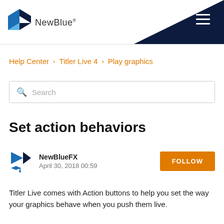NewBlue®
Help Center › Titler Live 4 › Play graphics
Search
Set action behaviors
NewBlueFX
April 30, 2018 00:59
Titler Live comes with Action buttons to help you set the way your graphics behave when you push them live.